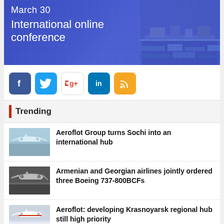[Figure (photo): Banner image with blue-tinted airport background showing March 30 International online conference text]
[Figure (infographic): Social media icons row: Facebook, Twitter, Google+, LinkedIn, RSS]
Trending
[Figure (photo): Thumbnail of aircraft on tarmac at Sochi airport]
Aeroflot Group turns Sochi into an international hub
[Figure (photo): Thumbnail of Boeing 737 aircraft on runway]
Armenian and Georgian airlines jointly ordered three Boeing 737-800BCFs
[Figure (photo): Thumbnail of Aeroflot aircraft]
Aeroflot: developing Krasnoyarsk regional hub still high priority